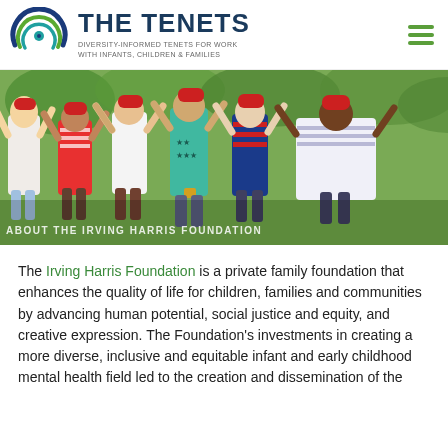THE TENETS — DIVERSITY-INFORMED TENETS FOR WORK WITH INFANTS, CHILDREN & FAMILIES
[Figure (photo): Six diverse children wearing red caps, arms raised joyfully outdoors in a park setting. Overlay text reads: ABOUT THE IRVING HARRIS FOUNDATION]
The Irving Harris Foundation is a private family foundation that enhances the quality of life for children, families and communities by advancing human potential, social justice and equity, and creative expression. The Foundation's investments in creating a more diverse, inclusive and equitable infant and early childhood mental health field led to the creation and dissemination of the Tenets.